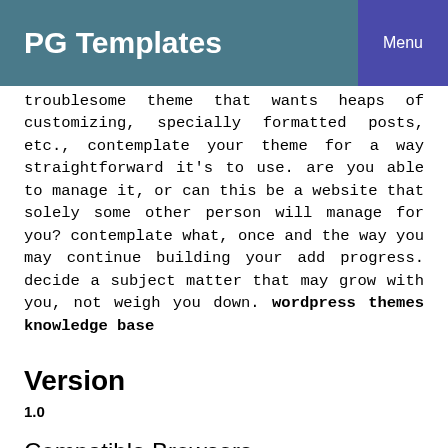PG Templates   Menu
troublesome theme that wants heaps of customizing, specially formatted posts, etc., contemplate your theme for a way straightforward it's to use. are you able to manage it, or can this be a website that solely some other person will manage for you? contemplate what, once and the way you may continue building your add progress. decide a subject matter that may grow with you, not weigh you down. wordpress themes knowledge base
Version
1.0
Compatible Browsers
IE10